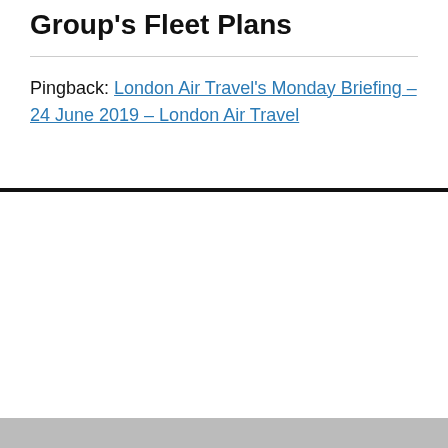Group's Fleet Plans
Pingback: London Air Travel's Monday Briefing – 24 June 2019 – London Air Travel
Privacy & Cookies: This site uses cookies. By continuing to use this website, you agree to their use.
To find out more, including how to control cookies, see here: Cookie Policy
Close and accept